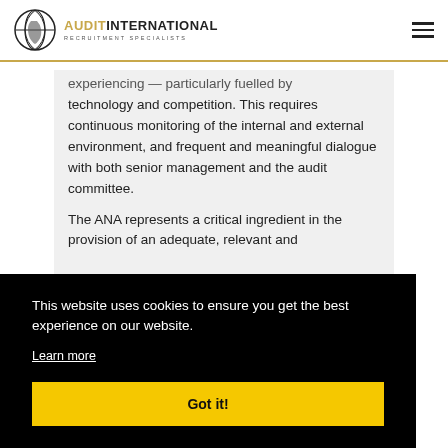AUDIT INTERNATIONAL RECRUITMENT SPECIALISTS
experiencing — particularly fuelled by technology and competition. This requires continuous monitoring of the internal and external environment, and frequent and meaningful dialogue with both senior management and the audit committee.
The ANA represents a critical ingredient in the provision of an adequate, relevant and
This website uses cookies to ensure you get the best experience on our website.
Learn more
Got it!
board assurance framework